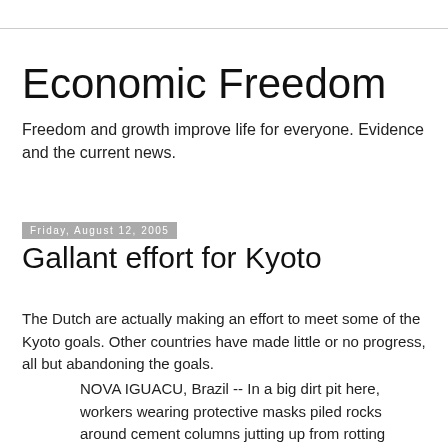Economic Freedom
Freedom and growth improve life for everyone. Evidence and the current news.
Friday, August 12, 2005
Gallant effort for Kyoto
The Dutch are actually making an effort to meet some of the Kyoto goals. Other countries have made little or no progress, all but abandoning the goals.
NOVA IGUACU, Brazil -- In a big dirt pit here, workers wearing protective masks piled rocks around cement columns jutting up from rotting trash. Some 6,000 miles away, Dutch officials